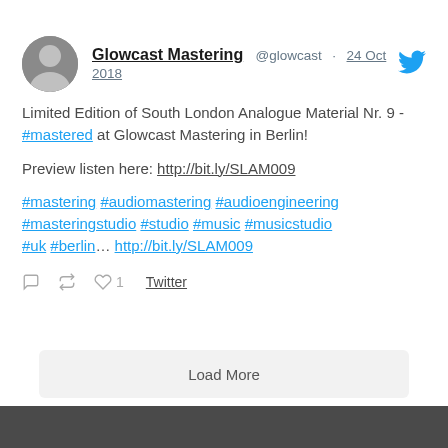Glowcast Mastering @glowcast · 24 Oct 2018
Limited Edition of South London Analogue Material Nr. 9 - #mastered at Glowcast Mastering in Berlin!

Preview listen here: http://bit.ly/SLAM009

#mastering #audiomastering #audioengineering #masteringstudio #studio #music #musicstudio #uk #berlin… http://bit.ly/SLAM009
1  Twitter
Load More